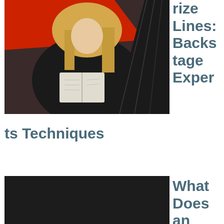[Figure (photo): A blonde woman in a black dress sitting and reading a magazine/book, with red and black fabric in the background]
rize Lines: Backstage Experts Techniques
[Figure (photo): A black and red drone (quadcopter) photographed on a dark background]
What Does an Industrial Designer